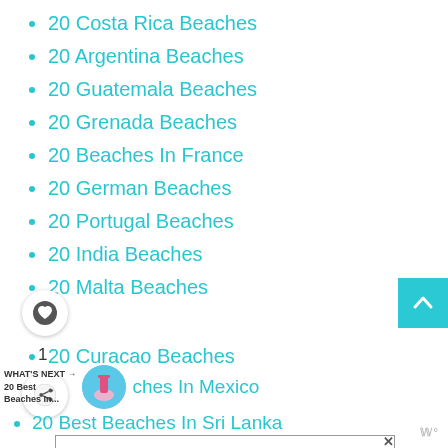20 Costa Rica Beaches
20 Argentina Beaches
20 Guatemala Beaches
20 Grenada Beaches
20 Beaches In France
20 German Beaches
20 Portugal Beaches
20 India Beaches
20 Malta Beaches
20 Curacao Beaches
1
WHAT'S NEXT →
20 Best Beaches In...
ches In Mexico
20 Best Beaches In Sri Lanka
[Figure (other): Advertisement banner: From Hello to Help, 211 is Here. Food · Housing · Utilities Assistance · Mental Health]